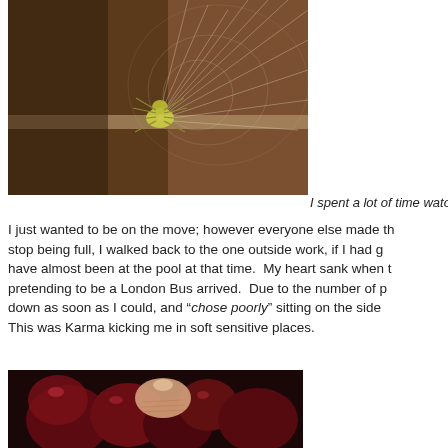[Figure (photo): Close-up photo of a yellow-green spider in its web, with a brown wooden background visible behind the web.]
I spent a lot of time wato
I just wanted to be on the move; however everyone else made th stop being full, I walked back to the one outside work, if I had g have almost been at the pool at that time.  My heart sank when t pretending to be a London Bus arrived.  Due to the number of p down as soon as I could, and “chose poorly” sitting on the side This was Karma kicking me in soft sensitive places.
[Figure (photo): Close-up photo of dark red/maroon objects (possibly cherries or similar food) with a finger touching one of them.]